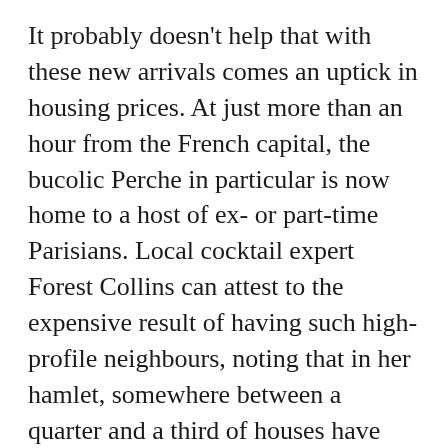It probably doesn't help that with these new arrivals comes an uptick in housing prices. At just more than an hour from the French capital, the bucolic Perche in particular is now home to a host of ex- or part-time Parisians. Local cocktail expert Forest Collins can attest to the expensive result of having such high-profile neighbours, noting that in her hamlet, somewhere between a quarter and a third of houses have become weekend homes for city-dwellers and that local brocantes (flea markets) have considerably hiked their prices as a result.
Martin has since switched gears at Les Terrasses de l'Ile, which reopened this spring with a simplified menu that better caters to the